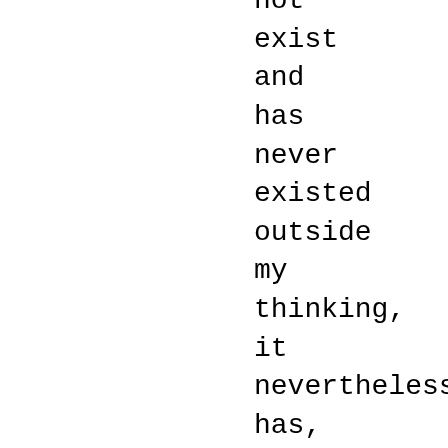not
exist
and
has
never
existed
outside
my
thinking,
it
nevertheless
has,
in
fact,
a
certain
determinate
nature
or
essence
or